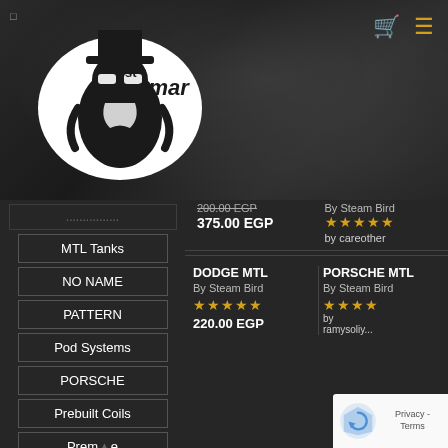[Figure (logo): St. Omar vape shop logo — black and white illustrated figure with text 'st omar']
MTL Tanks
NO NAME
PATTERN
Pod Systems
PORSCHE
Prebuilt Coils
Premium Liquids
375.00 EGP
By Steam Bird  ★★★★★  by careother
DODGE MTL
By Steam Bird
★★★★★
220.00 EGP
PORSCHE MTL
By Steam Bird
★★★★
by ramysoliy...